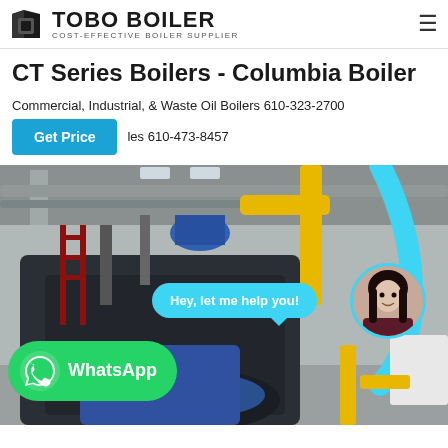[Figure (logo): Tobo Boiler logo with stylized boiler icon and text 'TOBO BOILER - COST-EFFECTIVE BOILER SUPPLIER']
CT Series Boilers - Columbia Boiler
Commercial, Industrial, & Waste Oil Boilers 610-323-2700
les 610-473-8457
[Figure (photo): Industrial boiler room interior with large cylindrical boiler, yellow pipes, blue insulation, and metal ductwork ceiling. Overlay shows WhatsApp chat widget with 'Hey, let me help you!' speech bubble, a female assistant avatar, and a green WhatsApp button.]